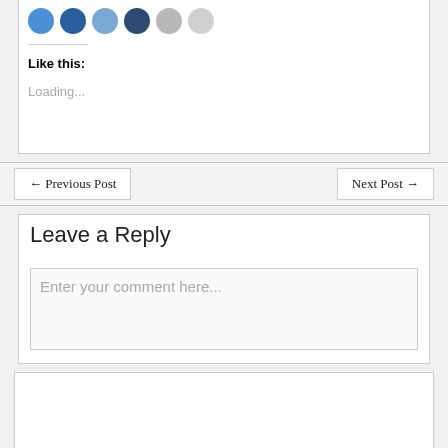[Figure (illustration): Row of social sharing icon circles in shades of blue and grey]
Like this:
Loading...
← Previous Post
Next Post →
Leave a Reply
Enter your comment here...
Privacy & Cookies: This site uses cookies. By continuing to use this website, you agree to their use.
To find out more, including how to control cookies, see here: Cookie Policy
Close and accept